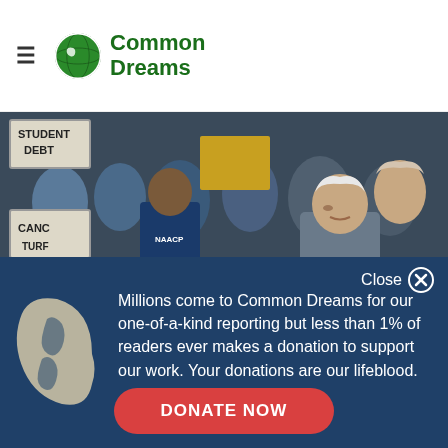Common Dreams
[Figure (photo): Protest rally photo showing people holding signs including 'STUDENT DEBT' and 'CANCEL', with Bernie Sanders visible in the foreground. Some people wearing NAACP shirts.]
Close ✕
[Figure (illustration): Common Dreams globe logo illustration in beige/cream color on dark blue background]
Millions come to Common Dreams for our one-of-a-kind reporting but less than 1% of readers ever makes a donation to support our work. Your donations are our lifeblood.
DONATE NOW